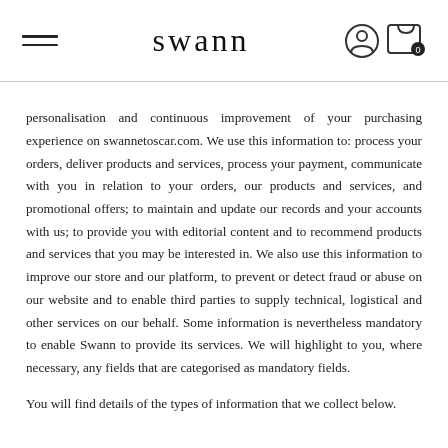swann
personalisation and continuous improvement of your purchasing experience on swannetoscar.com. We use this information to: process your orders, deliver products and services, process your payment, communicate with you in relation to your orders, our products and services, and promotional offers; to maintain and update our records and your accounts with us; to provide you with editorial content and to recommend products and services that you may be interested in. We also use this information to improve our store and our platform, to prevent or detect fraud or abuse on our website and to enable third parties to supply technical, logistical and other services on our behalf. Some information is nevertheless mandatory to enable Swann to provide its services. We will highlight to you, where necessary, any fields that are categorised as mandatory fields.
You will find details of the types of information that we collect below.